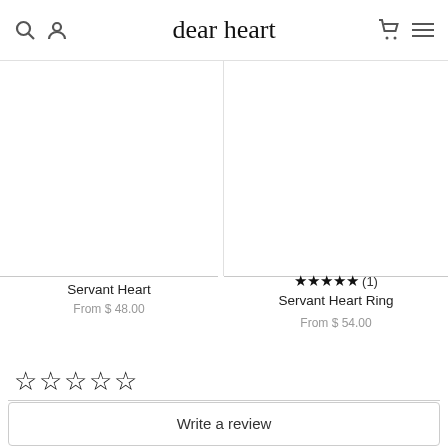dear heart
[Figure (photo): Product image area for Servant Heart (blank/white)]
Servant Heart
From $ 48.00
[Figure (photo): Product image area for Servant Heart Ring (blank/white)]
★★★★★ (1) Servant Heart Ring From $ 54.00
☆☆☆☆☆
Write a review